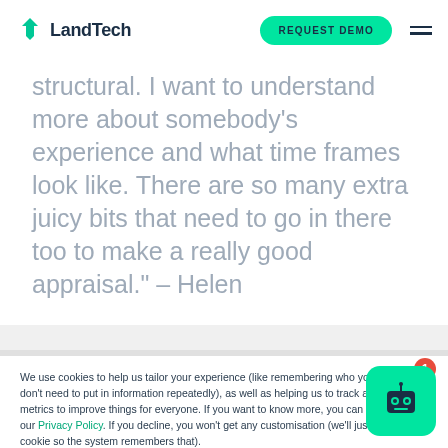LandTech | REQUEST DEMO
structural. I want to understand more about somebody's experience and what time frames look like. There are so many extra juicy bits that need to go in there too to make a really good appraisal." – Helen
We use cookies to help us tailor your experience (like remembering who you are so you don't need to put in information repeatedly), as well as helping us to track analytics and metrics to improve things for everyone. If you want to know more, you can check out our Privacy Policy. If you decline, you won't get any customisation (we'll just set a single cookie so the system remembers that).
Cookies settingsAccept AllDecline All